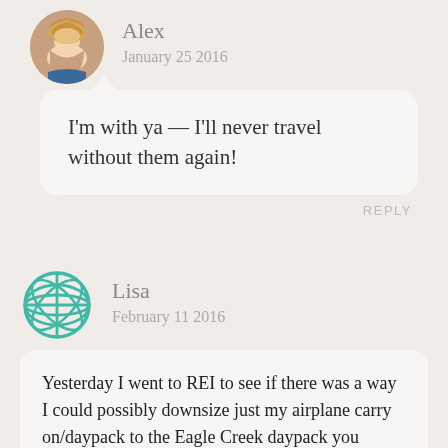[Figure (photo): Circular profile photo of Alex, a woman with blonde hair]
Alex
January 25 2016
I'm with ya — I'll never travel without them again!
REPLY
[Figure (illustration): Teal globe/earth icon used as avatar for Lisa]
Lisa
February 11 2016
Yesterday I went to REI to see if there was a way I could possibly downsize just my airplane carry on/daypack to the Eagle Creek daypack you suggested instead of a 40 liter one.
I met 'those' people in the backpack department....an